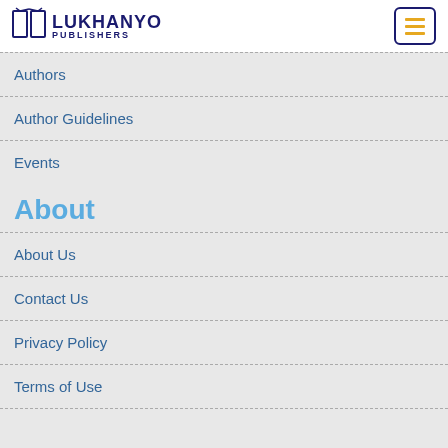LUKHANYO PUBLISHERS
Authors
Author Guidelines
Events
About
About Us
Contact Us
Privacy Policy
Terms of Use